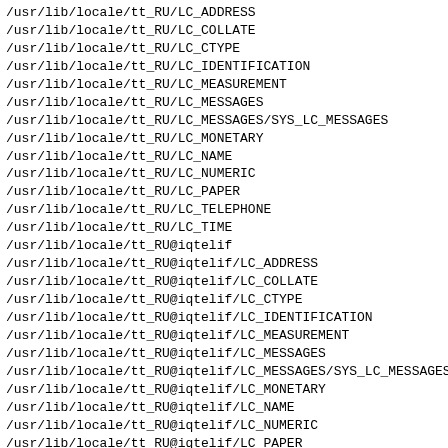/usr/lib/locale/tt_RU/LC_ADDRESS
/usr/lib/locale/tt_RU/LC_COLLATE
/usr/lib/locale/tt_RU/LC_CTYPE
/usr/lib/locale/tt_RU/LC_IDENTIFICATION
/usr/lib/locale/tt_RU/LC_MEASUREMENT
/usr/lib/locale/tt_RU/LC_MESSAGES
/usr/lib/locale/tt_RU/LC_MESSAGES/SYS_LC_MESSAGES
/usr/lib/locale/tt_RU/LC_MONETARY
/usr/lib/locale/tt_RU/LC_NAME
/usr/lib/locale/tt_RU/LC_NUMERIC
/usr/lib/locale/tt_RU/LC_PAPER
/usr/lib/locale/tt_RU/LC_TELEPHONE
/usr/lib/locale/tt_RU/LC_TIME
/usr/lib/locale/tt_RU@iqtelif
/usr/lib/locale/tt_RU@iqtelif/LC_ADDRESS
/usr/lib/locale/tt_RU@iqtelif/LC_COLLATE
/usr/lib/locale/tt_RU@iqtelif/LC_CTYPE
/usr/lib/locale/tt_RU@iqtelif/LC_IDENTIFICATION
/usr/lib/locale/tt_RU@iqtelif/LC_MEASUREMENT
/usr/lib/locale/tt_RU@iqtelif/LC_MESSAGES
/usr/lib/locale/tt_RU@iqtelif/LC_MESSAGES/SYS_LC_MESSAGES
/usr/lib/locale/tt_RU@iqtelif/LC_MONETARY
/usr/lib/locale/tt_RU@iqtelif/LC_NAME
/usr/lib/locale/tt_RU@iqtelif/LC_NUMERIC
/usr/lib/locale/tt_RU@iqtelif/LC_PAPER
/usr/lib/locale/tt_RU@iqtelif/LC_TELEPHONE
/usr/lib/locale/tt_RU@iqtelif/LC_TIME
/usr/lib/locale/ug_CN
/usr/lib/locale/ug_CN/LC_ADDRESS
/usr/lib/locale/ug_CN/LC_COLLATE
/usr/lib/locale/ug_CN/LC_CTYPE